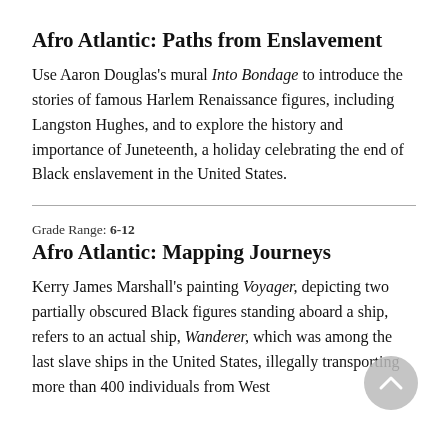Afro Atlantic: Paths from Enslavement
Use Aaron Douglas's mural Into Bondage to introduce the stories of famous Harlem Renaissance figures, including Langston Hughes, and to explore the history and importance of Juneteenth, a holiday celebrating the end of Black enslavement in the United States.
Grade Range: 6-12
Afro Atlantic: Mapping Journeys
Kerry James Marshall's painting Voyager, depicting two partially obscured Black figures standing aboard a ship, refers to an actual ship, Wanderer, which was among the last slave ships in the United States, illegally transporting more than 400 individuals from West